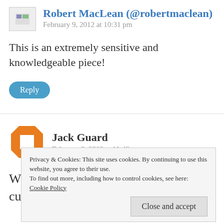Robert MacLean (@robertmaclean)
February 9, 2012 at 10:31 pm
This is an extremely sensitive and knowledgeable piece!
Reply
Jack Guard
February 9, 2012 at 11:49 pm
When a nation loses its history and culture it
Privacy & Cookies: This site uses cookies. By continuing to use this website, you agree to their use. To find out more, including how to control cookies, see here: Cookie Policy
Close and accept
year ago because commercially it is not